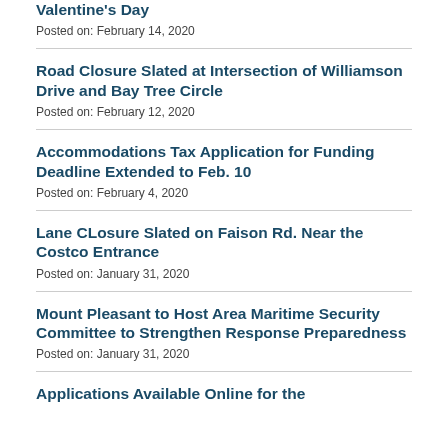Valentine's Day
Posted on: February 14, 2020
Road Closure Slated at Intersection of Williamson Drive and Bay Tree Circle
Posted on: February 12, 2020
Accommodations Tax Application for Funding Deadline Extended to Feb. 10
Posted on: February 4, 2020
Lane CLosure Slated on Faison Rd. Near the Costco Entrance
Posted on: January 31, 2020
Mount Pleasant to Host Area Maritime Security Committee to Strengthen Response Preparedness
Posted on: January 31, 2020
Applications Available Online for the